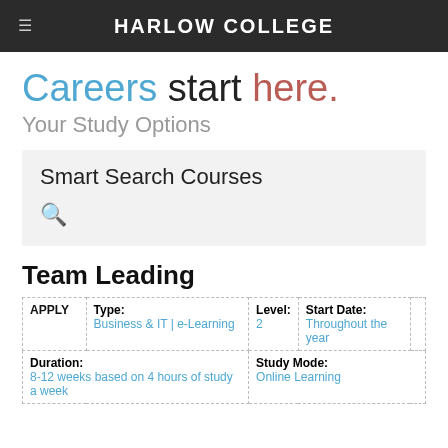HARLOW COLLEGE
Careers start here.
Your Study Options
Smart Search Courses
Team Leading
| APPLY | Type: | Level: | Start Date: |  |
| --- | --- | --- | --- | --- |
|  | Business & IT | e-Learning | 2 | Throughout the year |  |
| Duration: |  | Study Mode: |  |  |
| 8-12 weeks based on 4 hours of study a week |  | Online Learning |  |  |